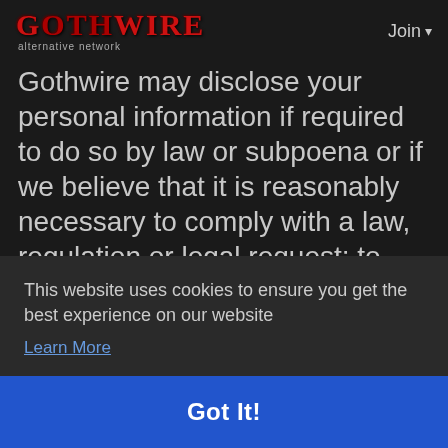GOTHWIRE alternative network | Join
Gothwire may disclose your personal information if required to do so by law or subpoena or if we believe that it is reasonably necessary to comply with a law, regulation or legal request; to protect the safety of any person; to address fraud, security or technical issues; or to protect
This website uses cookies to ensure you get the best experience on our website
Learn More
information (such as anonymous usage
Got It!